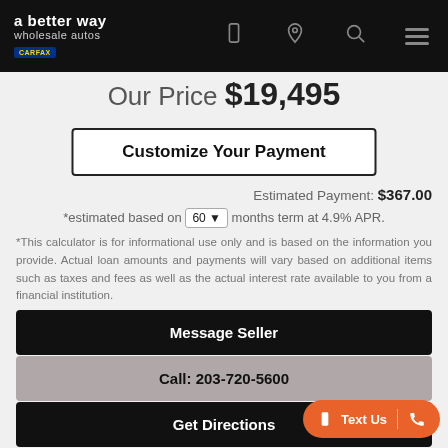a better way wholesale autos
Our Price $19,495
Customize Your Payment
Estimated Payment: $367.00
*estimated based on 60 months term at 4.9% APR.
*This calculator is for informational use only and is based on the information you provide. Actual loan amounts and payments will vary based on additional items such as taxes and fees as well as the actual interest rate available to you from a financial institution.
Message Seller
Call: 203-720-5600
Get Directions
Print eBrochure